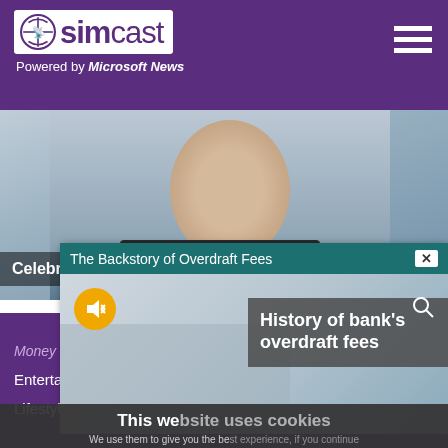simcast - Powered by Microsoft News
[Figure (photo): Celebrity photo (man in suit) with partial caption 'Celebrities accused of d...']
Celebrities accused of do
[Figure (screenshot): Video popup titled 'The Backstory of Overdraft Fees' with mute button and overlay text 'History of bank's overdraft fees']
This we
We use them to give you the be will assume that you are
Money
Travel
Contact Us
Entertainment
Videos
Privacy Policy
Lifestyle
Sports
Terms of Use